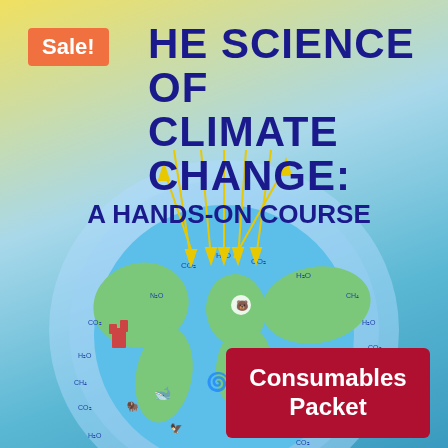THE SCIENCE OF CLIMATE CHANGE: A HANDS-ON COURSE
[Figure (illustration): Illustration of Earth globe with greenhouse gas labels (CO2, H2O, CH4, N2O) and yellow arrows showing solar radiation and re-radiation, with various climate-related icons (polar bear, whale, factory, wind turbine, etc.) arranged around the globe.]
Sale!
Consumables Packet